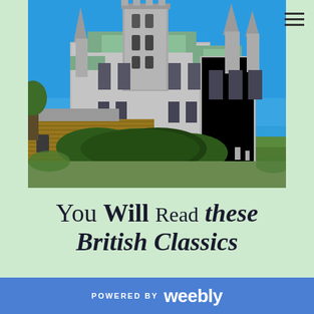[Figure (photo): Photograph of a large Gothic-style British cathedral with tall spires and towers against a blue sky, with green lawns and a hedge in the foreground]
You Will Read these British Classics
POWERED BY weebly